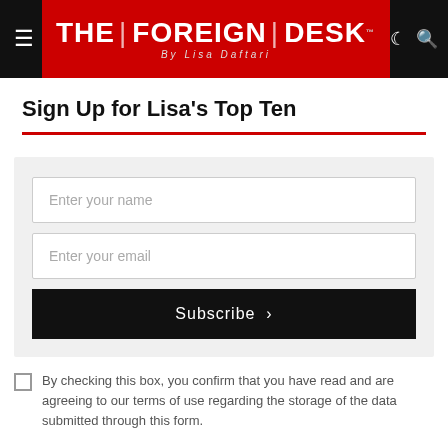THE | FOREIGN | DESK By Lisa Daftari
Sign Up for Lisa's Top Ten
[Figure (other): Newsletter signup form with name input, email input, Subscribe button, and consent checkbox]
By checking this box, you confirm that you have read and are agreeing to our terms of use regarding the storage of the data submitted through this form.